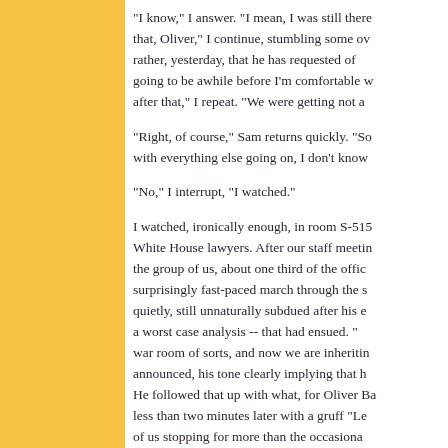"I know," I answer. "I mean, I was still there after that, Oliver," I continue, stumbling some over rather, yesterday, that he has requested of going to be awhile before I'm comfortable w after that," I repeat. "We were getting not a
"Right, of course," Sam returns quickly. "So with everything else going on, I don't know
"No," I interrupt, "I watched."
I watched, ironically enough, in room S-515 White House lawyers. After our staff meeti the group of us, about one third of the offic surprisingly fast-paced march through the s quietly, still unnaturally subdued after his e a worst case analysis -- that had ensued. " war room of sorts, and now we are inheritin announced, his tone clearly implying that h He followed that up with what, for Oliver Ba less than two minutes later with a gruff "Le of us stopping for more than the occasiona twelve hours until eight o'clock when we to address.